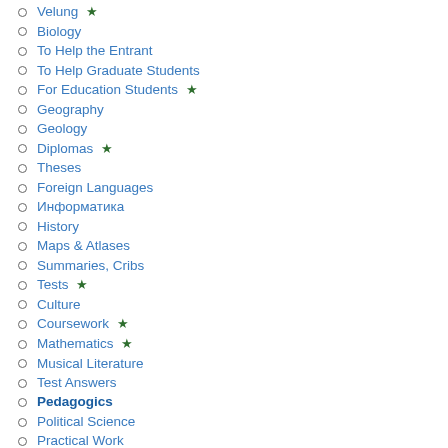Velung ★
Biology
To Help the Entrant
To Help Graduate Students
For Education Students ★
Geography
Geology
Diplomas ★
Theses
Foreign Languages
Информатика
History
Maps & Atlases
Summaries, Cribs
Tests ★
Culture
Coursework ★
Mathematics ★
Musical Literature
Test Answers
Pedagogics
Political Science
Practical Work
Psychology ★
Religion
...